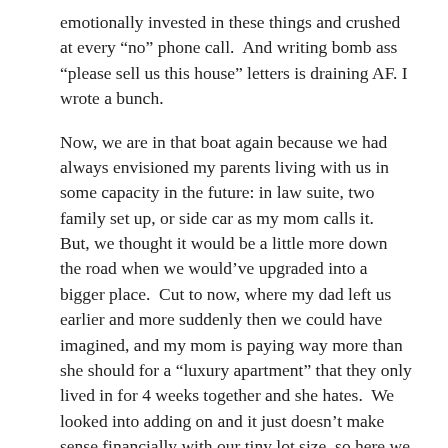emotionally invested in these things and crushed at every “no” phone call.  And writing bomb ass “please sell us this house” letters is draining AF. I wrote a bunch.
Now, we are in that boat again because we had always envisioned my parents living with us in some capacity in the future: in law suite, two family set up, or side car as my mom calls it.  But, we thought it would be a little more down the road when we would’ve upgraded into a bigger place.  Cut to now, where my dad left us earlier and more suddenly then we could have imagined, and my mom is paying way more than she should for a “luxury apartment” that they only lived in for 4 weeks together and she hates.  We looked into adding on and it just doesn’t make sense financially with our tiny lot size, so here we are in the middle of the holidays, with a newborn and me one month back at work, trampling around open houses all weekend and private showings on weeknights. As if we have time for that.  But once you start getting listings, you can’t help but